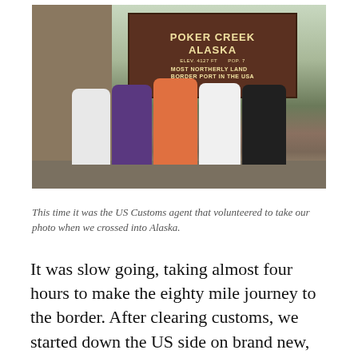[Figure (photo): Group of five people standing in front of a brown sign reading 'POKER CREEK ALASKA, ELEV. 4127 FT, POP. 7, MOST NORTHERLY LAND BORDER PORT IN THE USA'. The sign is at a border crossing. People are dressed casually. Background shows wooden structure and greenery.]
This time it was the US Customs agent that volunteered to take our photo when we crossed into Alaska.
It was slow going, taking almost four hours to make the eighty mile journey to the border. After clearing customs, we started down the US side on brand new, shiny black pavement. It had bright yellow center lines with white lines down the edges. Our walkie-talkies were full of chatter about how much we loved this road,